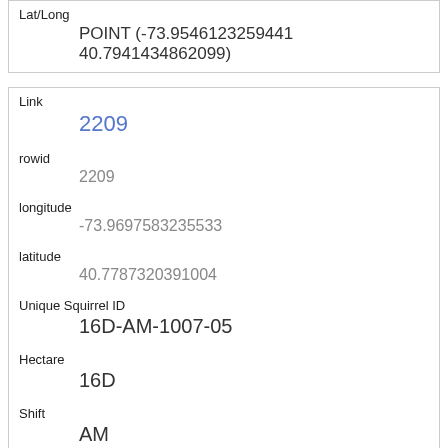| Lat/Long | POINT (-73.9546123259441 40.7941434862099) |
| Link | 2209 |
| rowid | 2209 |
| longitude | -73.9697583235533 |
| latitude | 40.7787320391004 |
| Unique Squirrel ID | 16D-AM-1007-05 |
| Hectare | 16D |
| Shift | AM |
| Date | 10072018 |
| Hectare Squirrel Number |  |